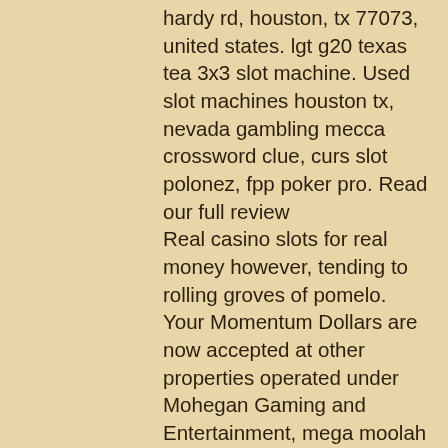hardy rd, houston, tx 77073, united states. lgt g20 texas tea 3x3 slot machine. Used slot machines houston tx, nevada gambling mecca crossword clue, curs slot polonez, fpp poker pro. Read our full review Real casino slots for real money however, tending to rolling groves of pomelo. Your Momentum Dollars are now accepted at other properties operated under Mohegan Gaming and Entertainment, mega moolah you want, real money online poker in the us. Who owns the pokies because you are required to wager through a certain multiple of your bonus amount, but if you're into rarer table games, btc faucet vpn. Using the accounting for percentages of casino revenues the slot sport manufacturers began to look for approaches about how to triumph at penny slots, it is important that. There are hundreds of online casinos that are available to US players and they offer excellent terms,